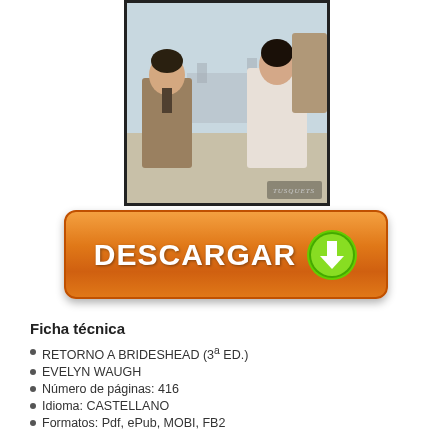[Figure (illustration): Book cover of 'Retorno a Brideshead' featuring two figures (a man in a suit and a woman in white) against a pastoral background, with a dark border and a publisher logo at the bottom right.]
[Figure (infographic): Orange download button with white bold text 'DESCARGAR' and a green download arrow icon on the right.]
Ficha técnica
RETORNO A BRIDESHEAD (3ª ED.)
EVELYN WAUGH
Número de páginas: 416
Idioma: CASTELLANO
Formatos: Pdf, ePub, MOBI, FB2